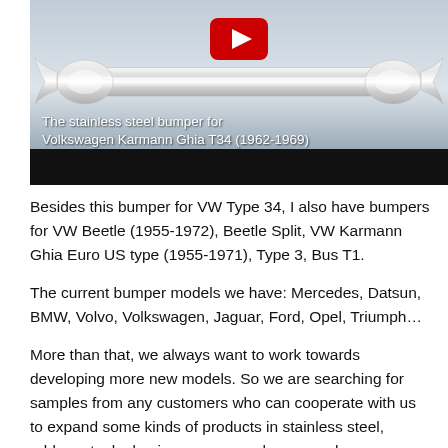[Figure (screenshot): YouTube video thumbnail showing a stainless steel bumper for Volkswagen Karmann Ghia T34 (1962-1969). A red YouTube play button is visible at the top center, with white text overlay reading 'The stainless steel bumper for Volkswagen Karmann Ghia T34 (1962-1969)' and a small red link text at bottom right. A black bar runs across the bottom of the image.]
Besides this bumper for VW Type 34, I also have bumpers for VW Beetle (1955-1972), Beetle Split, VW Karmann Ghia Euro US type (1955-1971), Type 3, Bus T1.
The current bumper models we have: Mercedes, Datsun, BMW, Volvo, Volkswagen, Jaguar, Ford, Opel, Triumph…
More than that, we always want to work towards developing more new models. So we are searching for samples from any customers who can cooperate with us to expand some kinds of products in stainless steel, rubber, steel, aluminum, copper, chrome such as bumpers, trims, plate number